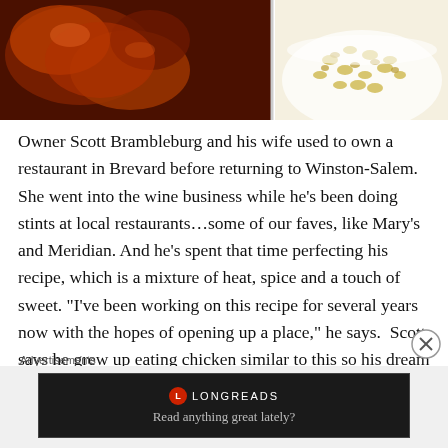[Figure (photo): Food photo showing glazed barbecue chicken on the left side and macaroni/pasta salad on the right side in a white bowl]
Owner Scott Brambleburg and his wife used to own a restaurant in Brevard before returning to Winston-Salem. She went into the wine business while he’s been doing stints at local restaurants…some of our faves, like Mary’s and Meridian. And he’s spent that time perfecting his recipe, which is a mixture of heat, spice and a touch of sweet. “I’ve been working on this recipe for several years now with the hopes of opening up a place,” he says.  Scott says he grew up eating chicken similar to this so his dream was to bring the amazing chicken to the Camel City. He says, “I just wanted a place where we basically
Advertisements
[Figure (screenshot): Longreads advertisement banner with dark background showing Longreads logo and tagline 'Read anything great lately?']